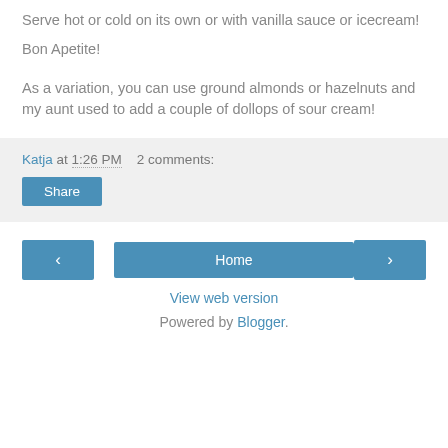Serve hot or cold on its own or with vanilla sauce or icecream!
Bon Apetite!
As a variation, you can use ground almonds or hazelnuts and my aunt used to add a couple of dollops of sour cream!
Katja at 1:26 PM   2 comments:
Share
‹  Home  ›
View web version
Powered by Blogger.